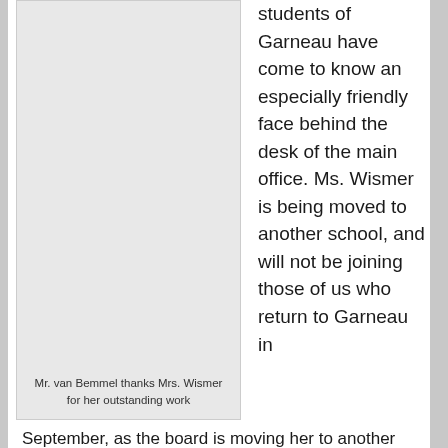[Figure (photo): Photo placeholder of Mr. van Bemmel thanking Mrs. Wismer, shown as a light gray box]
Mr. van Bemmel thanks Mrs. Wismer for her outstanding work
students of Garneau have come to know an especially friendly face behind the desk of the main office. Ms. Wismer is being moved to another school, and will not be joining those of us who return to Garneau in September, as the board is moving her to another school. Ms. Wismer sat down with us following this year's TOPS night to speak about her years here at the school.
How did you get into this job?
After my children left home, a friend...